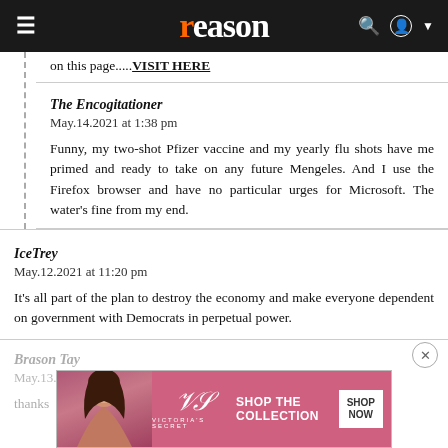[Figure (screenshot): Reason magazine website navigation bar with hamburger menu, orange 'r' + 'eason' logo in white, search and account icons on dark background]
on this page..... VISIT HERE
The Encogitationer
May.14.2021 at 1:38 pm

Funny, my two-shot Pfizer vaccine and my yearly flu shots have me primed and ready to take on any future Mengeles. And I use the Firefox browser and have no particular urges for Microsoft. The water's fine from my end.
IceTrey
May.12.2021 at 11:20 pm

It's all part of the plan to destroy the economy and make everyone dependent on government with Democrats in perpetual power.
Brason Tay
May.13.2021 at 1:27 pm

thanks...
[Figure (screenshot): Victoria's Secret advertisement banner with model, VS logo, 'SHOP THE COLLECTION' text and 'SHOP NOW' button]